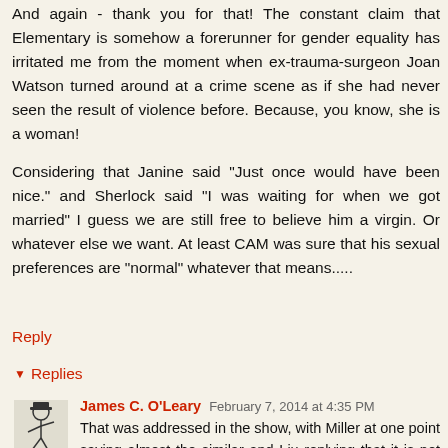And again - thank you for that! The constant claim that Elementary is somehow a forerunner for gender equality has irritated me from the moment when ex-trauma-surgeon Joan Watson turned around at a crime scene as if she had never seen the result of violence before. Because, you know, she is a woman!

Considering that Janine said "Just once would have been nice." and Sherlock said "I was waiting for when we got married" I guess we are still free to believe him a virgin. Or whatever else we want. At least CAM was sure that his sexual preferences are "normal" whatever that means.....
Reply
▼ Replies
James C. O'Leary February 7, 2014 at 4:35 PM
That was addressed in the show, with Miller at one point saying almost the similar and Liu replying that it is not the same thing. However, since the pilot, which had the scene you